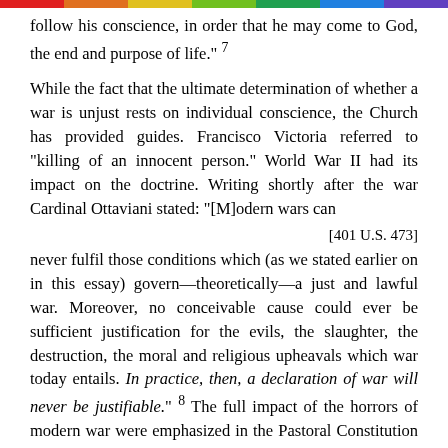follow his conscience, in order that he may come to God, the end and purpose of life." 7
While the fact that the ultimate determination of whether a war is unjust rests on individual conscience, the Church has provided guides. Francisco Victoria referred to "killing of an innocent person." World War II had its impact on the doctrine. Writing shortly after the war Cardinal Ottaviani stated: "[M]odern wars can
[401 U.S. 473]
never fulfil those conditions which (as we stated earlier on in this essay) govern—theoretically—a just and lawful war. Moreover, no conceivable cause could ever be sufficient justification for the evils, the slaughter, the destruction, the moral and religious upheavals which war today entails. In practice, then, a declaration of war will never be justifiable." 8 The full impact of the horrors of modern war were emphasized in the Pastoral Constitution announced by Vatican II: